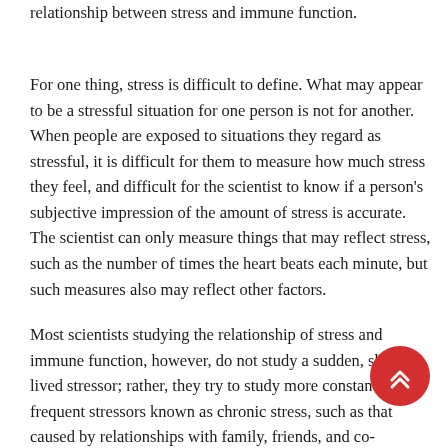relationship between stress and immune function.
For one thing, stress is difficult to define. What may appear to be a stressful situation for one person is not for another. When people are exposed to situations they regard as stressful, it is difficult for them to measure how much stress they feel, and difficult for the scientist to know if a person's subjective impression of the amount of stress is accurate. The scientist can only measure things that may reflect stress, such as the number of times the heart beats each minute, but such measures also may reflect other factors.
Most scientists studying the relationship of stress and immune function, however, do not study a sudden, short-lived stressor; rather, they try to study more constant and frequent stressors known as chronic stress, such as that caused by relationships with family, friends, and co-